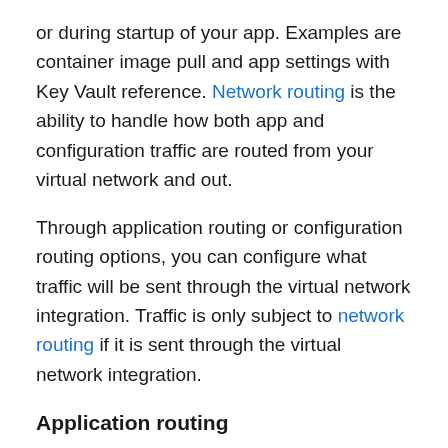or during startup of your app. Examples are container image pull and app settings with Key Vault reference. Network routing is the ability to handle how both app and configuration traffic are routed from your virtual network and out.
Through application routing or configuration routing options, you can configure what traffic will be sent through the virtual network integration. Traffic is only subject to network routing if it is sent through the virtual network integration.
Application routing
Application routing applies to traffic that is sent from your app after it has been started. See configuration routing for traffic during start up. When you configure application routing, you can either route all traffic or only private traffic